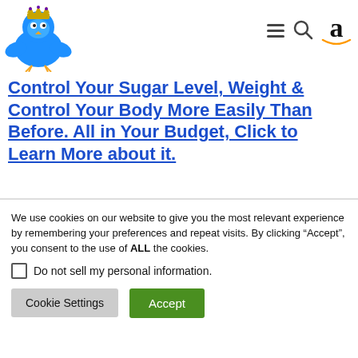[Figure (logo): Blue bird mascot with crown logo in top left]
[Figure (logo): Navigation icons: hamburger menu, search magnifier, Amazon 'a' logo with orange underline curve]
Control Your Sugar Level, Weight & Control Your Body More Easily Than Before. All in Your Budget, Click to Learn More about it.
We use cookies on our website to give you the most relevant experience by remembering your preferences and repeat visits. By clicking “Accept”, you consent to the use of ALL the cookies.
Do not sell my personal information.
Cookie Settings   Accept